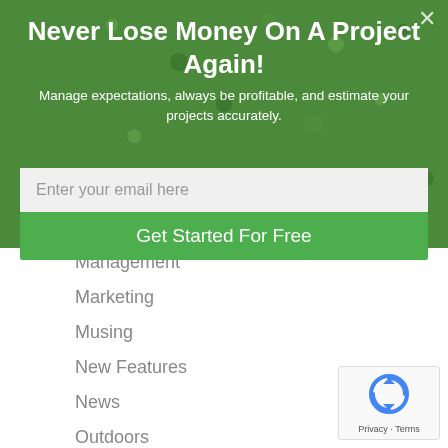Never Lose Money On A Project Again!
Manage expectations, always be profitable, and estimate your projects accurately.
Enter your email here
Get Started For Free
Management
Marketing
Musing
New Features
News
Outdoors
People
Podcasts
[Figure (logo): reCAPTCHA logo with Privacy and Terms text]